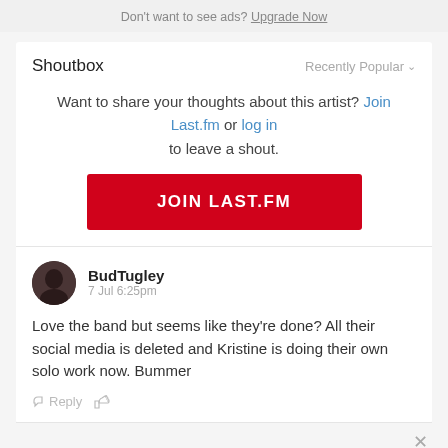Don't want to see ads? Upgrade Now
Shoutbox
Recently Popular
Want to share your thoughts about this artist? Join Last.fm or log in to leave a shout.
JOIN LAST.FM
BudTugley
7 Jul 6:25pm
Love the band but seems like they're done? All their social media is deleted and Kristine is doing their own solo work now. Bummer
Reply